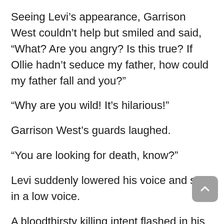Seeing Levi’s appearance, Garrison West couldn’t help but smiled and said, “What? Are you angry? Is this true? If Ollie hadn’t seduce my father, how could my father fall and you?”
“Why are you wild! It’s hilarious!”
Garrison West’s guards laughed.
“You are looking for death, know?”
Levi suddenly lowered his voice and said in a low voice.
A bloodthirsty killing intent flashed in his eyes.
“Boss, don’t… this is… your wedding…”